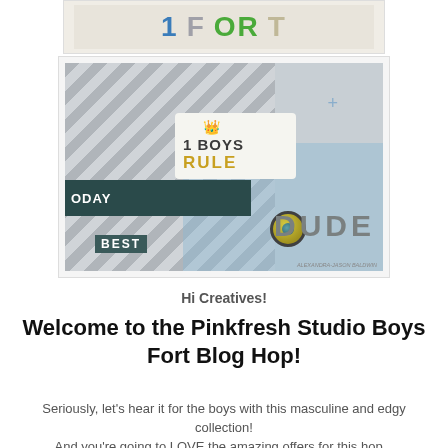[Figure (photo): Cropped top portion of a craft/scrapbooking product image showing glitter letters in blue, silver, green, and tan colors on a beige background]
[Figure (photo): Scrapbooking layout photo showing striped grey paper, a 'Boys Rule' sticker with crown, a button embellishment, 'DUDE' lettering, dark banner with 'TODAY' and 'BEST' text, and blue watercolor splashes]
Hi Creatives!
Welcome to the Pinkfresh Studio Boys Fort Blog Hop!
Seriously, let's hear it for the boys with this masculine and edgy collection!
And you're going to LOVE the amazing offers for this hop...